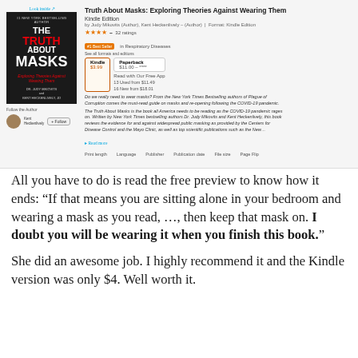[Figure (screenshot): Amazon product listing screenshot for 'Truth About Masks: Exploring Theories Against Wearing Them' Kindle Edition, showing book cover, ratings, pricing, and description]
All you have to do is read the free preview to know how it ends: “If that means you are sitting alone in your bedroom and wearing a mask as you read, ..., then keep that mask on. I doubt you will be wearing it when you finish this book.”
She did an awesome job. I highly recommend it and the Kindle version was only $4. Well worth it.